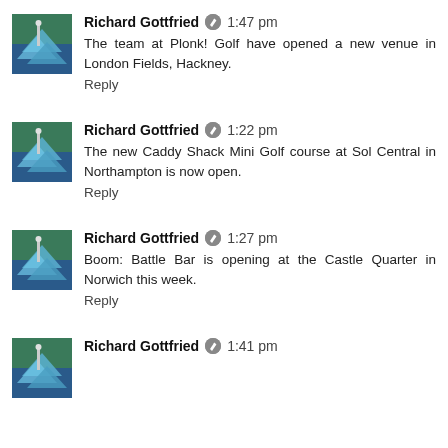Richard Gottfried 1:47 pm
The team at Plonk! Golf have opened a new venue in London Fields, Hackney.
Reply
Richard Gottfried 1:22 pm
The new Caddy Shack Mini Golf course at Sol Central in Northampton is now open.
Reply
Richard Gottfried 1:27 pm
Boom: Battle Bar is opening at the Castle Quarter in Norwich this week.
Reply
Richard Gottfried 1:41 pm